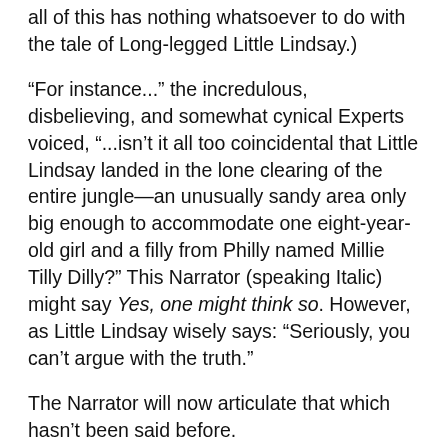all of this has nothing whatsoever to do with the tale of Long-legged Little Lindsay.)
“For instance...” the incredulous, disbelieving, and somewhat cynical Experts voiced, “...isn’t it all too coincidental that Little Lindsay landed in the lone clearing of the entire jungle—an unusually sandy area only big enough to accommodate one eight-year-old girl and a filly from Philly named Millie Tilly Dilly?” This Narrator (speaking Italic) might say Yes, one might think so. However, as Little Lindsay wisely says: “Seriously, you can’t argue with the truth.”
The Narrator will now articulate that which hasn’t been said before.
“Oh, my head...” Little Lindsay said out loud (to whom she didn’t know), while pressing her hands against her temples. She didn’t wish to open her eyes but didn’t like lying on the ground, so she moved her legs under her and started slowly.